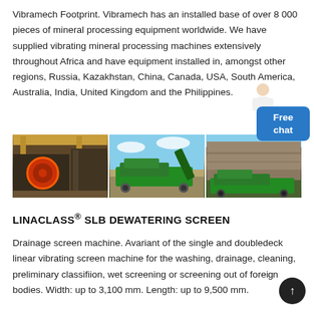Vibramech Footprint. Vibramech has an installed base of over 8 000 pieces of mineral processing equipment worldwide. We have supplied vibrating mineral processing machines extensively throughout Africa and have equipment installed in, amongst other regions, Russia, Kazakhstan, China, Canada, USA, South America, Australia, India, United Kingdom and the Philippines.
[Figure (photo): Three photos side by side: (1) Industrial interior with large red circular machinery component; (2) Green mobile screening machine at an outdoor quarry site with blue sky; (3) Green screening machine against a rocky cliff/quarry face.]
LINACLASS® SLB DEWATERING SCREEN
Drainage screen machine. Avariant of the single and doubledeck linear vibrating screen machine for the washing, drainage, cleaning, preliminary classifiion, wet screening or screening out of foreign bodies. Width: up to 3,100 mm. Length: up to 9,500 mm.